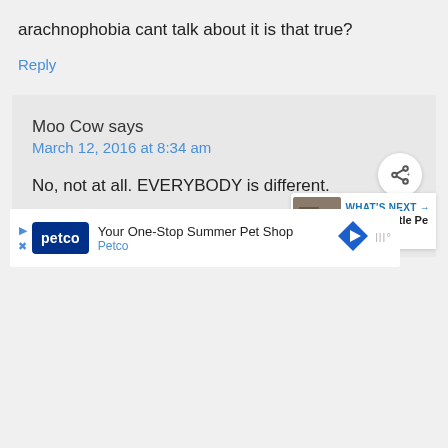arachnophobia cant talk about it is that true?
Reply
Moo Cow says
March 12, 2016 at 8:34 am
No, not at all. EVERYBODY is different.
Reply
[Figure (other): Share button icon (circular white button with share symbol)]
[Figure (other): What's Next thumbnail panel: Fear of Little Pe... Phobia -...]
[Figure (other): Petco advertisement banner: Your One-Stop Summer Pet Shop, Petco]